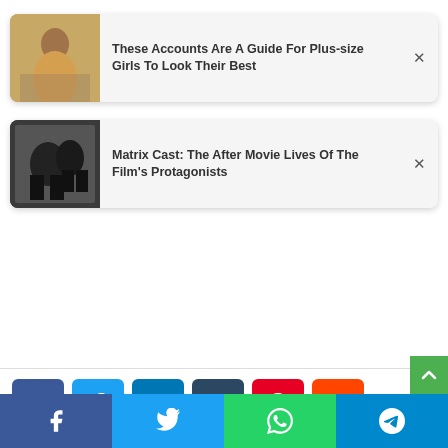[Figure (screenshot): Article card with thumbnail of plus-size woman in gold outfit and title text]
These Accounts Are A Guide For Plus-size Girls To Look Their Best
[Figure (screenshot): Article card with thumbnail of Matrix movie scene and title text]
Matrix Cast: The After Movie Lives Of The Film's Protagonists
[Figure (infographic): Social share buttons: Facebook, Twitter, LinkedIn, Tumblr, Pinterest, Reddit]
[Figure (infographic): Bottom bar social share buttons: Facebook, Twitter, WhatsApp, Telegram]